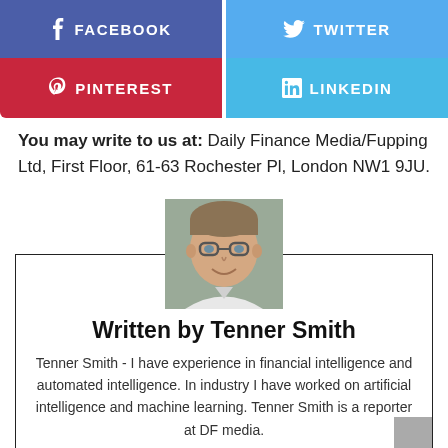[Figure (infographic): Four social media share buttons: Facebook (dark blue-purple), Twitter (light blue), Pinterest (red), LinkedIn (light blue)]
You may write to us at: Daily Finance Media/Fupping Ltd, First Floor, 61-63 Rochester Pl, London NW1 9JU.
[Figure (photo): Headshot photo of Tenner Smith, a man with glasses and short hair, smiling]
Written by Tenner Smith
Tenner Smith - I have experience in financial intelligence and automated intelligence. In industry I have worked on artificial intelligence and machine learning. Tenner Smith is a reporter at DF media.